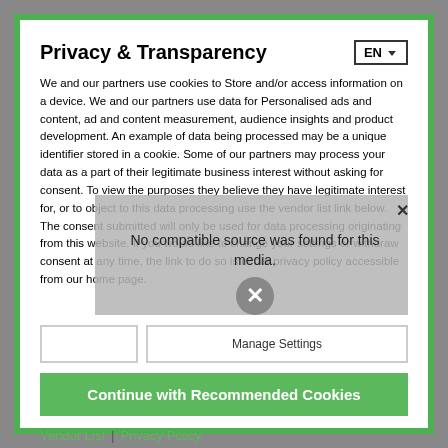Privacy & Transparency
We and our partners use cookies to Store and/or access information on a device. We and our partners use data for Personalised ads and content, ad and content measurement, audience insights and product development. An example of data being processed may be a unique identifier stored in a cookie. Some of our partners may process your data as a part of their legitimate business interest without asking for consent. To view the purposes they believe they have legitimate interest for, or to object to this data processing use the vendor list link below. The consent submitted will only be used for data processing originating from this website. If you would like to change your settings or withdraw consent at any time, the link to do so is in our privacy policy accessible from our home page.
[Figure (illustration): Video player overlay showing a cartoon leprechaun character with a magnifying glass and a 'No compatible source was found for this media.' message with an X button]
Manage Settings
Continue with Recommended Cookies
Vendor List | Privacy Policy